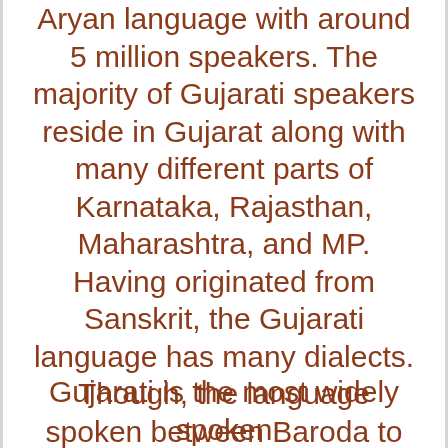Aryan language with around 5 million speakers. The majority of Gujarati speakers reside in Gujarat along with many different parts of Karnataka, Rajasthan, Maharashtra, and MP. Having originated from Sanskrit, the Gujarati language has many dialects. Though, the language spoken between Baroda to Ahmedabad is basically the main Gujarati language. So, if you want to expand your business you need to work with a Gujarati translation agency.
Gujarati is the most widely spoken